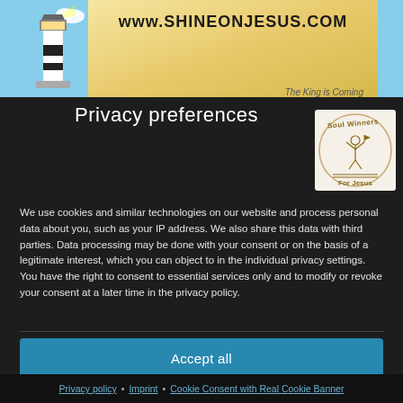[Figure (screenshot): Top banner of shineonjesus.com website showing lighthouse illustration and URL]
Privacy preferences
[Figure (logo): Soul Winners For Jesus logo with illustration of person with raised arms]
We use cookies and similar technologies on our website and process personal data about you, such as your IP address. We also share this data with third parties. Data processing may be done with your consent or on the basis of a legitimate interest, which you can object to in the individual privacy settings. You have the right to consent to essential services only and to modify or revoke your consent at a later time in the privacy policy.
Accept all
Continue without consent
Individual privacy preferences
Privacy policy • Imprint • Cookie Consent with Real Cookie Banner